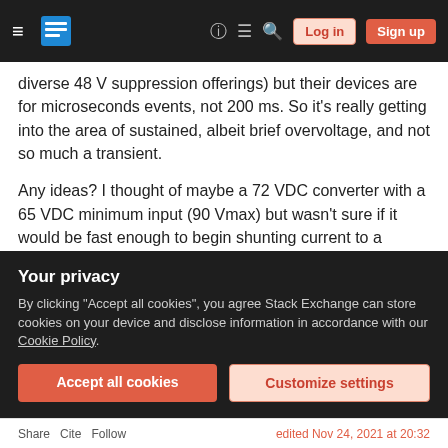Stack Exchange navigation bar with hamburger menu, logo, help, chat, search, Log in, Sign up
diverse 48 V suppression offerings) but their devices are for microseconds events, not 200 ms. So it's really getting into the area of sustained, albeit brief overvoltage, and not so much a transient.
Any ideas? I thought of maybe a 72 VDC converter with a 65 VDC minimum input (90 Vmax) but wasn't sure if it would be fast enough to begin shunting current to a dummy load attached to its output.
There must be a way to build a large inductor or an RC network that could absorb that kind of energy...
Your privacy
By clicking "Accept all cookies", you agree Stack Exchange can store cookies on your device and disclose information in accordance with our Cookie Policy.
Share   Cite   Follow                    edited Nov 24, 2021 at 20:32